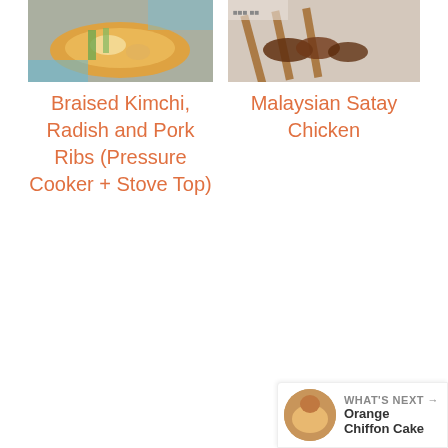[Figure (photo): Photo of Braised Kimchi, Radish and Pork Ribs dish in a bowl]
[Figure (photo): Photo of Malaysian Satay Chicken skewers]
Braised Kimchi, Radish and Pork Ribs (Pressure Cooker + Stove Top)
Malaysian Satay Chicken
90 comments :
Anonymous
JUNE 10, 2011 AT 11:26 AM